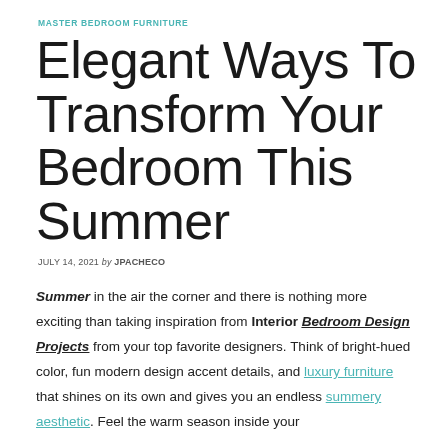MASTER BEDROOM FURNITURE
Elegant Ways To Transform Your Bedroom This Summer
JULY 14, 2021 by JPACHECO
Summer in the air the corner and there is nothing more exciting than taking inspiration from Interior Bedroom Design Projects from your top favorite designers. Think of bright-hued color, fun modern design accent details, and luxury furniture that shines on its own and gives you an endless summery aesthetic. Feel the warm season inside your